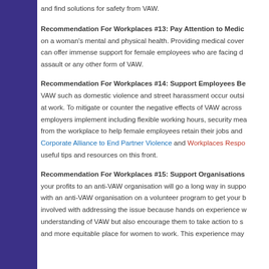and find solutions for safety from VAW.
Recommendation For Workplaces #13: Pay Attention to Medic...
on a woman's mental and physical health. Providing medical cover... can offer immense support for female employees who are facing d... assault or any other form of VAW.
Recommendation For Workplaces #14: Support Employees Be...
VAW such as domestic violence and street harassment occur outsi... at work. To mitigate or counter the negative effects of VAW across... employers implement including flexible working hours, security mea... from the workplace to help female employees retain their jobs and... Corporate Alliance to End Partner Violence and Workplaces Respo... useful tips and resources on this front.
Recommendation For Workplaces #15: Support Organisations...
your profits to an anti-VAW organisation will go a long way in suppo... with an anti-VAW organisation on a volunteer program to get your b... involved with addressing the issue because hands on experience w... understanding of VAW but also encourage them to take action to s... and more equitable place for women to work. This experience may...